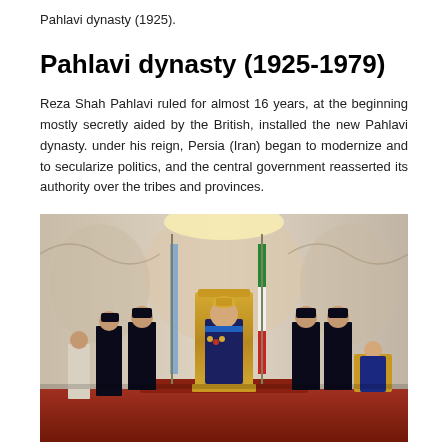Pahlavi dynasty (1925).
Pahlavi dynasty (1925-1979)
Reza Shah Pahlavi ruled for almost 16 years, at the beginning mostly secretly aided by the British, installed the new Pahlavi dynasty. under his reign, Persia (Iran) began to modernize and to secularize politics, and the central government reasserted its authority over the tribes and provinces.
[Figure (photo): A formal coronation ceremony showing a figure seated on an ornate golden throne in the center, flanked by military officers in dress uniform on both sides. Flags and ornate palace walls with crystal decorations are visible in the background. A young child sits on a smaller throne to the right.]